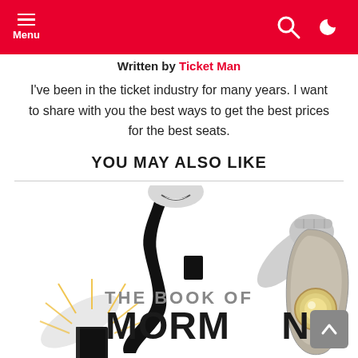Menu (navigation bar)
Written by Ticket Man
I've been in the ticket industry for many years. I want to share with you the best ways to get the best prices for the best seats.
YOU MAY ALSO LIKE
[Figure (illustration): The Book of Mormon musical promotional poster showing a figure in missionary attire holding a book with golden rays, and a decorative doorbell, in black and white style with gold lettering reading THE BOOK OF MORMON]